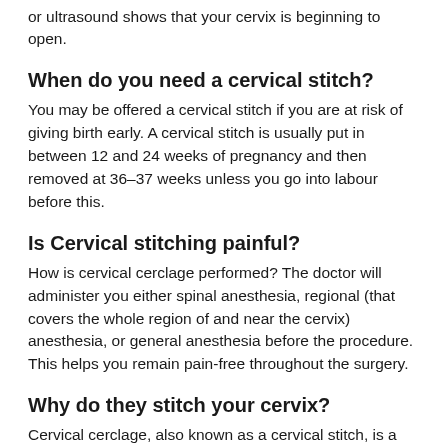or ultrasound shows that your cervix is beginning to open.
When do you need a cervical stitch?
You may be offered a cervical stitch if you are at risk of giving birth early. A cervical stitch is usually put in between 12 and 24 weeks of pregnancy and then removed at 36–37 weeks unless you go into labour before this.
Is Cervical stitching painful?
How is cervical cerclage performed? The doctor will administer you either spinal anesthesia, regional (that covers the whole region of and near the cervix) anesthesia, or general anesthesia before the procedure. This helps you remain pain-free throughout the surgery.
Why do they stitch your cervix?
Cervical cerclage, also known as a cervical stitch, is a procedure done during pregnancy in which your doctor will sew your cervix closed. The cervix is a funnel-shaped tissue